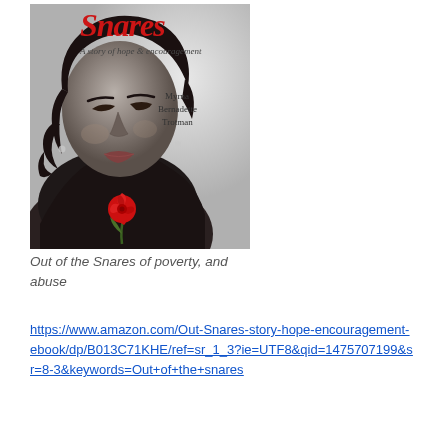[Figure (illustration): Book cover of 'Snares: A story of hope & encouragement' by Myrna Bernadette Trotman. Black and white photo of a woman with eyes closed holding a red rose, with the title in red script at the top.]
Out of the Snares of poverty, and abuse
https://www.amazon.com/Out-Snares-story-hope-encouragement-ebook/dp/B013C71KHE/ref=sr_1_3?ie=UTF8&qid=1475707199&sr=8-3&keywords=Out+of+the+snares